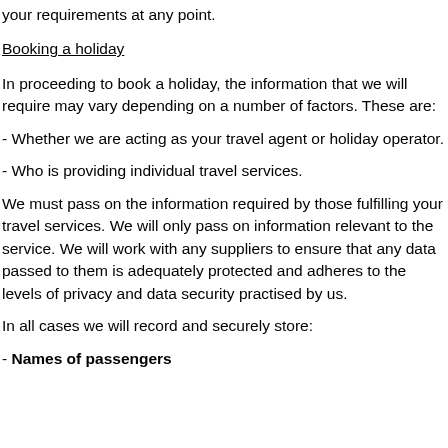your requirements at any point.
Booking a holiday
In proceeding to book a holiday, the information that we will require may vary depending on a number of factors. These are:
- Whether we are acting as your travel agent or holiday operator.
- Who is providing individual travel services.
We must pass on the information required by those fulfilling your travel services. We will only pass on information relevant to the service. We will work with any suppliers to ensure that any data passed to them is adequately protected and adheres to the levels of privacy and data security practised by us.
In all cases we will record and securely store:
- Names of passengers